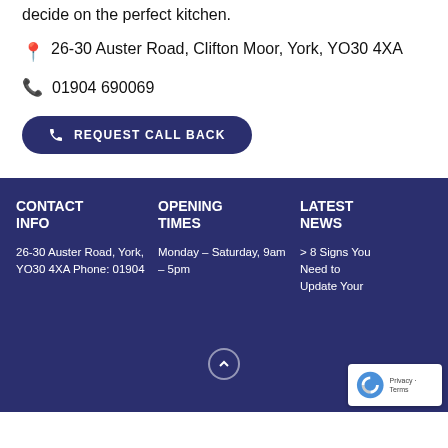decide on the perfect kitchen.
📍 26-30 Auster Road, Clifton Moor, York, YO30 4XA
📞 01904 690069
REQUEST CALL BACK
CONTACT INFO
OPENING TIMES
LATEST NEWS
26-30 Auster Road, York, YO30 4XA Phone: 01904
Monday – Saturday, 9am – 5pm
> 8 Signs You Need to Update Your